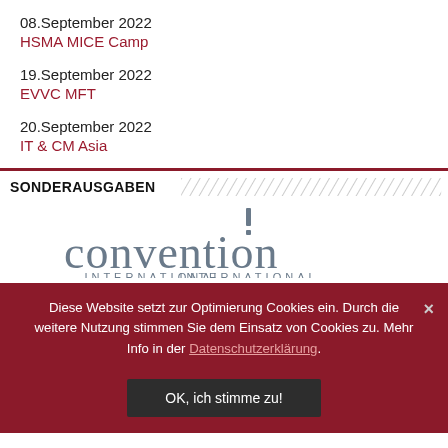08.September 2022
HSMA MICE Camp
19.September 2022
EVVC MFT
20.September 2022
IT & CM Asia
SONDERAUSGABEN
[Figure (logo): convention INTERNATIONAL logo with exclamation mark above the 'i' in convention]
Diese Website setzt zur Optimierung Cookies ein. Durch die weitere Nutzung stimmen Sie dem Einsatz von Cookies zu. Mehr Info in der Datenschutzerklärung.
OK, ich stimme zu!